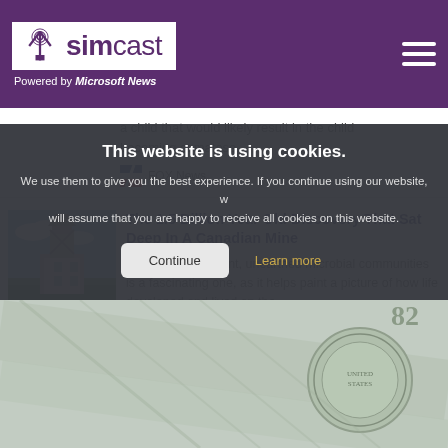simcast — Powered by Microsoft News
a child that would likely result in the child becoming comatose...
FOX News
The 1.5 Billion Year Old Discovery That Sat Deep In A Canadian Mine
The study of ancient, unearthed microbial communities is a fascinating one, as it helps paint a picture of how life developed and lived on the
This website is using cookies. We use them to give you the best experience. If you continue using our website, we will assume that you are happy to receive all cookies on this website.
[Figure (photo): US dollar bills close-up showing Federal Reserve seal and bill details]